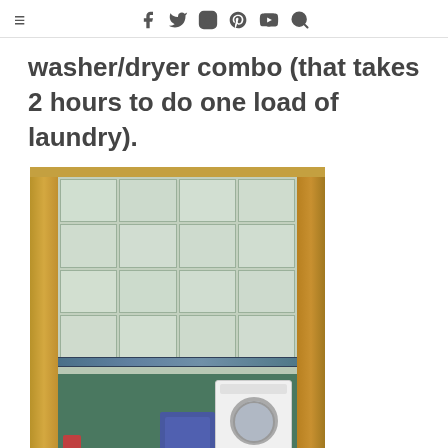≡  f  𝕥  ☺  ☺  ▶  🔍
washer/dryer combo (that takes 2 hours to do one load of laundry).
[Figure (photo): View through a wooden door frame into a small bathroom/laundry room with green and light tiles, a washer at the bottom right, and a laundry basket.]